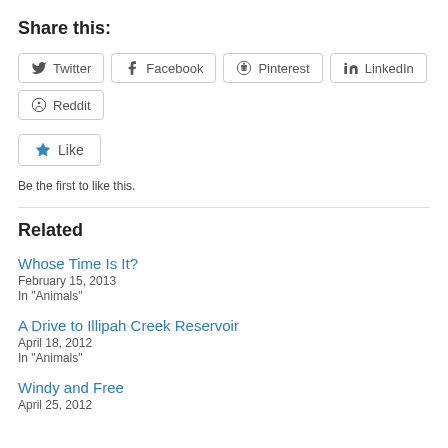Share this:
Twitter  Facebook  Pinterest  LinkedIn  Reddit
[Figure (other): Like button with star icon]
Be the first to like this.
Related
Whose Time Is It?
February 15, 2013
In "Animals"
A Drive to Illipah Creek Reservoir
April 18, 2012
In "Animals"
Windy and Free
April 25, 2012